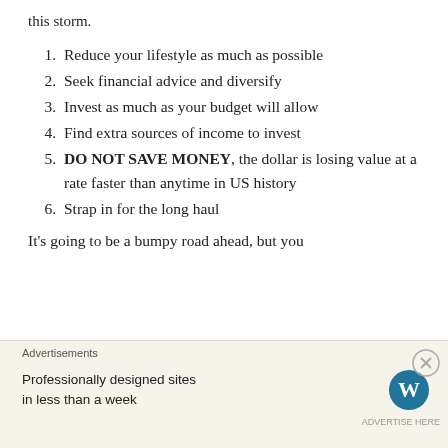this storm.
Reduce your lifestyle as much as possible
Seek financial advice and diversify
Invest as much as your budget will allow
Find extra sources of income to invest
DO NOT SAVE MONEY, the dollar is losing value at a rate faster than anytime in US history
Strap in for the long haul
It's going to be a bumpy road ahead, but you
Advertisements
Professionally designed sites in less than a week